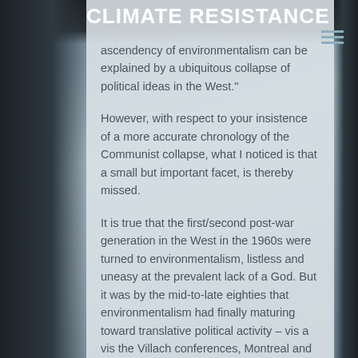CLIMATE RESISTANCE
ascendency of environmentalism can be explained by a ubiquitous collapse of political ideas in the West."
However, with respect to your insistence of a more accurate chronology of the Communist collapse, what I noticed is that a small but important facet, is thereby missed.
It is true that the first/second post-war generation in the West in the 1960s were turned to environmentalism, listless and uneasy at the prevalent lack of a God. But it was by the mid-to-late eighties that environmentalism had finally maturing toward translative political activity – vis a vis the Villach conferences, Montreal and Rio. (Sure there was the Clean Air Act before that, etc, .